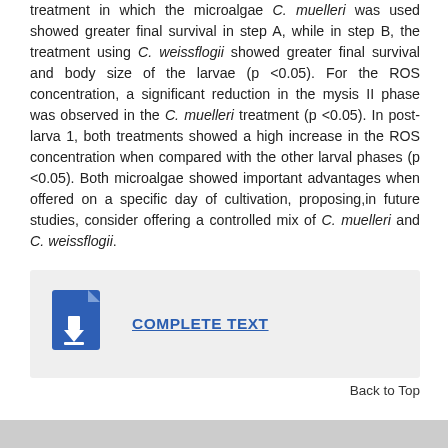treatment in which the microalgae C. muelleri was used showed greater final survival in step A, while in step B, the treatment using C. weissflogii showed greater final survival and body size of the larvae (p <0.05). For the ROS concentration, a significant reduction in the mysis II phase was observed in the C. muelleri treatment (p <0.05). In post-larva 1, both treatments showed a high increase in the ROS concentration when compared with the other larval phases (p <0.05). Both microalgae showed important advantages when offered on a specific day of cultivation, proposing,in future studies, consider offering a controlled mix of C. muelleri and C. weissflogii.
[Figure (other): Document download icon (blue file icon with down arrow) next to a 'COMPLETE TEXT' link]
Back to Top